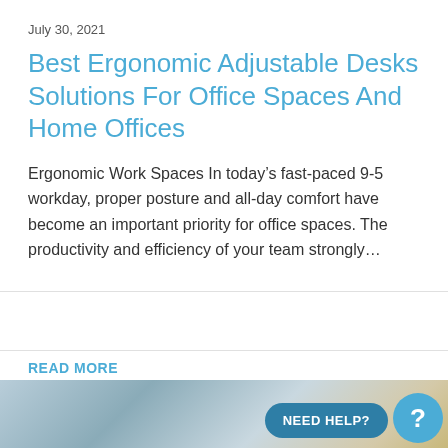July 30, 2021
Best Ergonomic Adjustable Desks Solutions For Office Spaces And Home Offices
Ergonomic Work Spaces In today’s fast-paced 9-5 workday, proper posture and all-day comfort have become an important priority for office spaces. The productivity and efficiency of your team strongly…
READ MORE
[Figure (photo): Bottom strip showing an office space with large windows and city view]
NEED HELP?